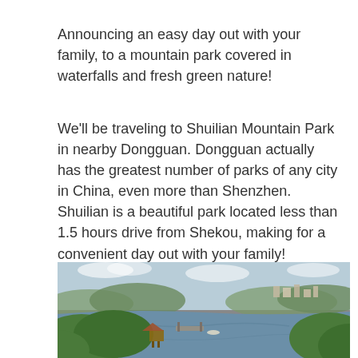Announcing an easy day out with your family, to a mountain park covered in waterfalls and fresh green nature!
We'll be traveling to Shuilian Mountain Park in nearby Dongguan. Dongguan actually has the greatest number of parks of any city in China, even more than Shenzhen. Shuilian is a beautiful park located less than 1.5 hours drive from Shekou, making for a convenient day out with your family!
[Figure (photo): Aerial view of Shuilian Mountain Park showing a large lake/reservoir surrounded by lush green hills and trees, with a traditional pavilion structure near the water's edge and a town visible in the background under a partly cloudy sky.]